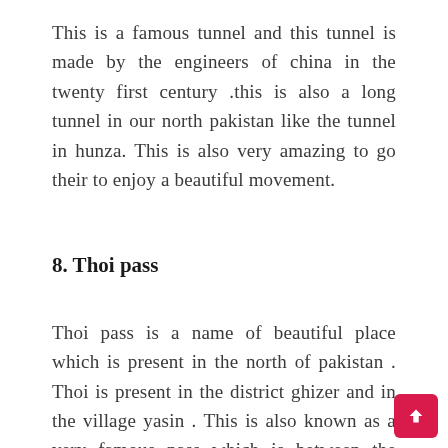This is a famous tunnel and this tunnel is made by the engineers of china in the twenty first century .this is also a long tunnel in our north pakistan like the tunnel in hunza. This is also very amazing to go their to enjoy a beautiful movement.
8. Thoi pass
Thoi pass is a name of beautiful place which is present in the north of pakistan . Thoi is present in the district ghizer and in the village yasin . This is also known as a very famous pass which is between the chitral and the gilgait baltistan